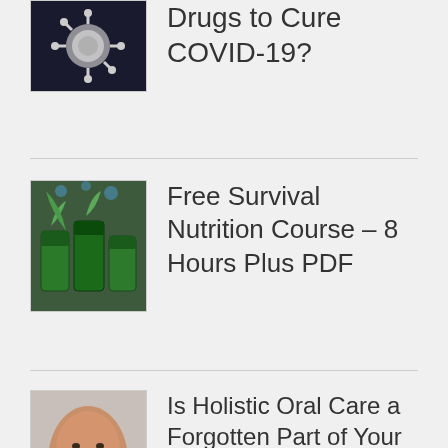Drugs to Cure COVID-19?
Free Survival Nutrition Course – 8 Hours Plus PDF
Is Holistic Oral Care a Forgotten Part of Your Natural Health Treatment Plan?